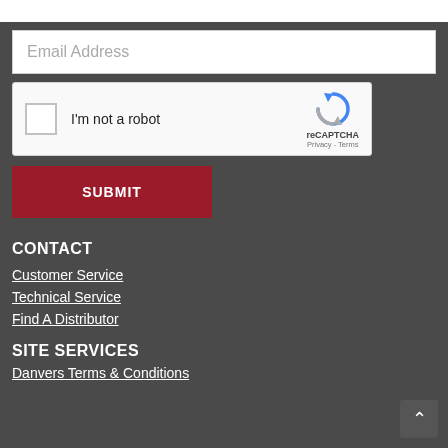Email Address
[Figure (screenshot): reCAPTCHA widget with checkbox and 'I'm not a robot' label]
SUBMIT
CONTACT
Customer Service
Technical Service
Find A Distributor
SITE SERVICES
Danvers Terms & Conditions